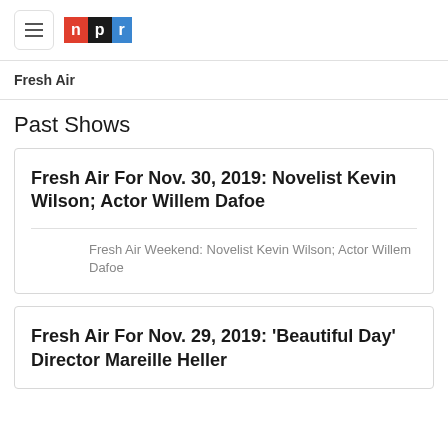NPR Fresh Air
Past Shows
Fresh Air For Nov. 30, 2019: Novelist Kevin Wilson; Actor Willem Dafoe
Fresh Air Weekend: Novelist Kevin Wilson; Actor Willem Dafoe
Fresh Air For Nov. 29, 2019: 'Beautiful Day' Director Mareille Heller